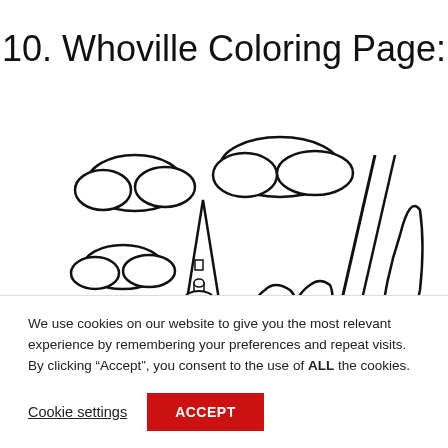10. Whoville Coloring Page:
[Figure (illustration): Line drawing illustration of a Whoville scene: whimsical buildings with pointed roofs, clouds, trees, and decorative elements in black and white coloring page style.]
We use cookies on our website to give you the most relevant experience by remembering your preferences and repeat visits. By clicking “Accept”, you consent to the use of ALL the cookies.
Cookie settings
ACCEPT